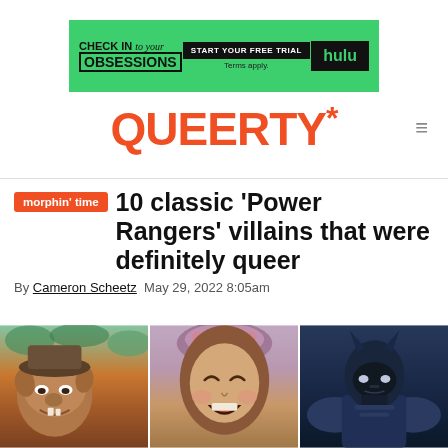[Figure (screenshot): Hulu advertisement banner on green background: 'CHECK IN to your OBSESSIONS — START YOUR FREE TRIAL / Terms apply. / hulu']
QUEERTY*
10 classic 'Power Rangers' villains that were definitely queer
By Cameron Scheetz   May 29, 2022 8:05am
[Figure (photo): Three side-by-side images of classic Power Rangers villains: a goblin-like creature on the left, a laughing woman with an ornate headdress in the center, and a dark armored figure on the right]